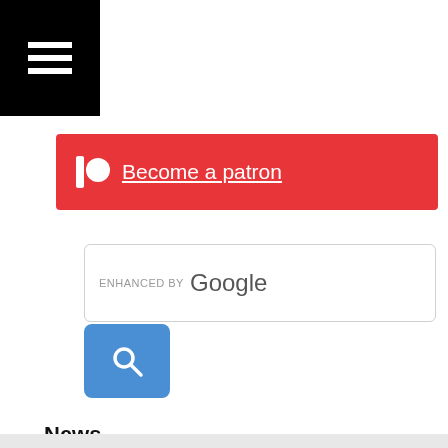[Figure (screenshot): Black hamburger menu icon bar in top-left corner]
[Figure (screenshot): Red Patreon banner with white circle icon and 'Become a patron' underlined text]
[Figure (screenshot): Google search box labeled 'ENHANCED BY Google' with blue search button below]
News
News! We try and give you the most interesting news stories from the Asian boxing world!
[Figure (screenshot): Infolinks ad banner showing Frontgate: Outdoor Furniture | Bedding advertisement with 25% off site wide sale going on now at Frontgate.com, frontgate.com link, close X button, next arrow button]